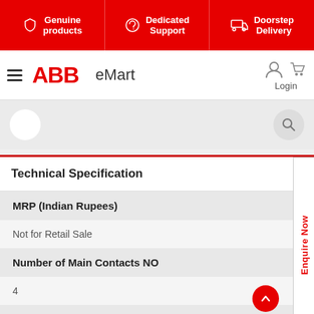[Figure (screenshot): ABB eMart website header with red banner showing Genuine products, Dedicated Support, Doorstep Delivery, navigation bar with ABB logo, eMart text, Login and cart icons, and a search bar area below.]
Technical Specification
MRP (Indian Rupees)
Not for Retail Sale
Number of Main Contacts NO
4
Compatibility